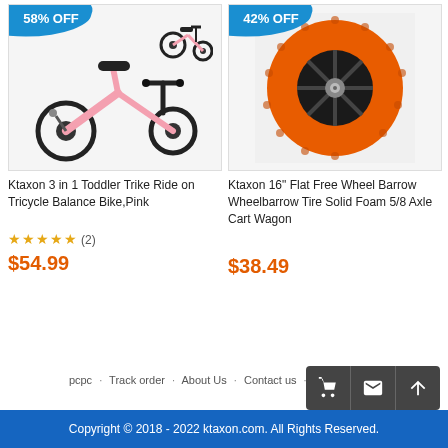[Figure (photo): Pink child tricycle balance bike with black wheels, shown with a small version of itself, 58% OFF badge in blue]
[Figure (photo): Orange foam solid flat-free wheel/tire on black rim, 42% OFF badge in blue]
Ktaxon 3 in 1 Toddler Trike Ride on Tricycle Balance Bike,Pink
★★★★★ (2)
$54.99
Ktaxon 16" Flat Free Wheel Barrow Wheelbarrow Tire Solid Foam 5/8 Axle Cart Wagon
$38.49
pcpc · Track order · About Us · Contact us · Return Policy
Copyright © 2018 - 2022 ktaxon.com. All Rights Reserved.